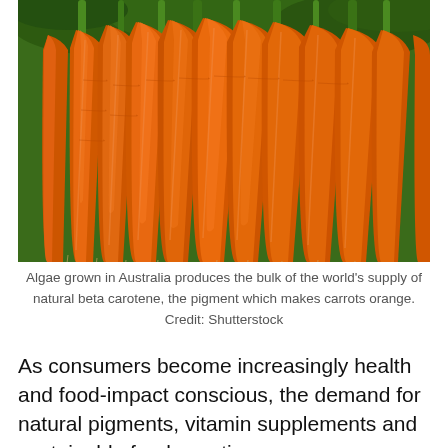[Figure (photo): A bunch of fresh orange carrots with green tops, arranged together, filling the frame. The carrots are bright orange with fibrous roots at the tips and green leafy stems at the top.]
Algae grown in Australia produces the bulk of the world's supply of natural beta carotene, the pigment which makes carrots orange. Credit: Shutterstock
As consumers become increasingly health and food-impact conscious, the demand for natural pigments, vitamin supplements and sustainable foods continues